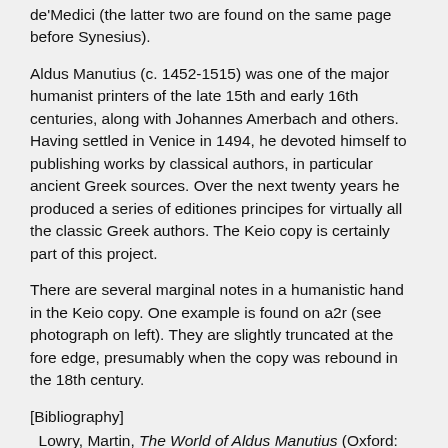de'Medici (the latter two are found on the same page before Synesius).
Aldus Manutius (c. 1452-1515) was one of the major humanist printers of the late 15th and early 16th centuries, along with Johannes Amerbach and others. Having settled in Venice in 1494, he devoted himself to publishing works by classical authors, in particular ancient Greek sources. Over the next twenty years he produced a series of editiones principes for virtually all the classic Greek authors. The Keio copy is certainly part of this project.
There are several marginal notes in a humanistic hand in the Keio copy. One example is found on a2r (see photograph on left). They are slightly truncated at the fore edge, presumably when the copy was rebound in the 18th century.
[Bibliography]
Lowry, Martin, The World of Aldus Manutius (Oxford: Basil Blackwell, 1979)
The Cambridge History of Renaissance Philosophy, ed. by Charles B. Schmitt, et al. (Cambridge: Cambridge University Press, 1988)